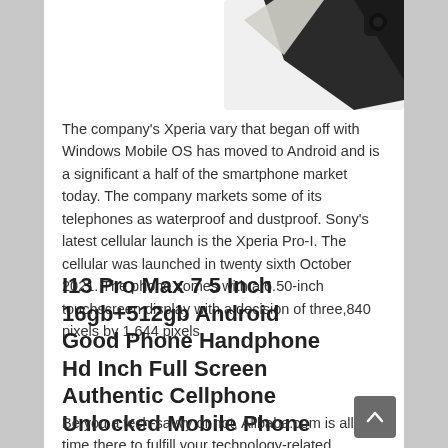[Figure (photo): Partial cropped image of a smartphone (corner/back of device visible against white background)]
The company's Xperia vary that began off with Windows Mobile OS has moved to Android and is a significant a half of the smartphone market today. The company markets some of its telephones as waterproof and dustproof. Sony's latest cellular launch is the Xperia Pro-I. The cellular was launched in twenty sixth October 2021. The phone comes with a 6.50-inch touchscreen display with a decision of three,840 pixels by 1,644 pixels.
I13 Pro Max 7 5 Inch 16gb+512gb Android Good Phone Handphone Hd Inch Full Screen Authentic Cellphone Unlocked Mobile Phone
Be you a tech-savvy or not, Alibaba.com is all the time there to fulfill your technology-related